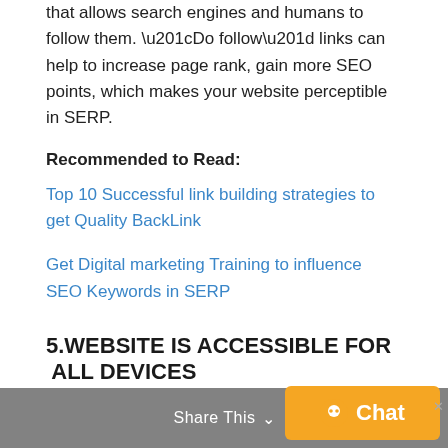that allows search engines and humans to follow them. “Do follow” links can help to increase page rank, gain more SEO points, which makes your website perceptible in SERP.
Recommended to Read:
Top 10 Successful link building strategies to get Quality BackLink
Get Digital marketing Training to influence SEO Keywords in SERP
5.WEBSITE IS ACCESSIBLE FOR  ALL DEVICES
Share This